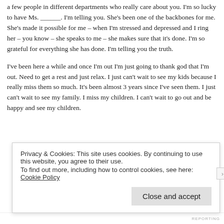a few people in different departments who really care about you. I'm so lucky to have Ms. ______. I'm telling you. She's been one of the backbones for me. She's made it possible for me – when I'm stressed and depressed and I ring her – you know – she speaks to me – she makes sure that it's done. I'm so grateful for everything she has done. I'm telling you the truth.
I've been here a while and once I'm out I'm just going to thank god that I'm out. Need to get a rest and just relax. I just can't wait to see my kids because I really miss them so much. It's been almost 3 years since I've seen them. I just can't wait to see my family. I miss my children. I can't wait to go out and be happy and see my children.
Privacy & Cookies: This site uses cookies. By continuing to use this website, you agree to their use. To find out more, including how to control cookies, see here: Cookie Policy
Close and accept